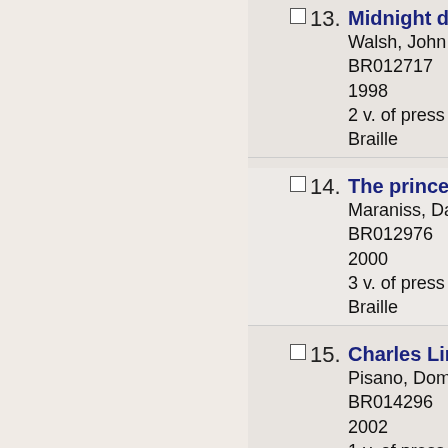13. Midnight dreary... / Walsh, John Eva... / BR012717 / 1998 / 2 v. of press bra... / Braille
14. The prince of T... / Maraniss, David... / BR012976 / 2000 / 3 v. of press bra... / Braille
15. Charles Lindbe... / Pisano, Dominic... / BR014296 / 2002 / 1 v. of press bra... / Braille
16. Revolutionary...